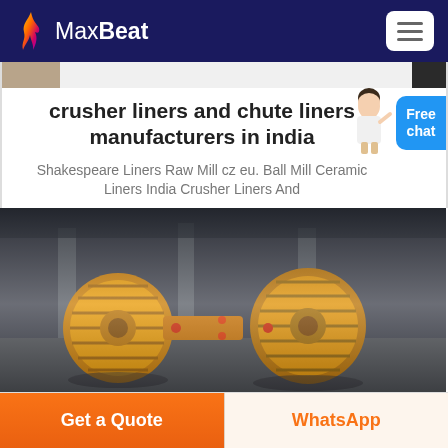MaxBeat
crusher liners and chute liners manufacturers in india
Shakespeare Liners Raw Mill cz eu. Ball Mill Ceramic Liners India Crusher Liners And
[Figure (photo): Industrial crusher/roller mill machinery with yellow metal components and ribbed drums in a factory setting]
Get a Quote
WhatsApp